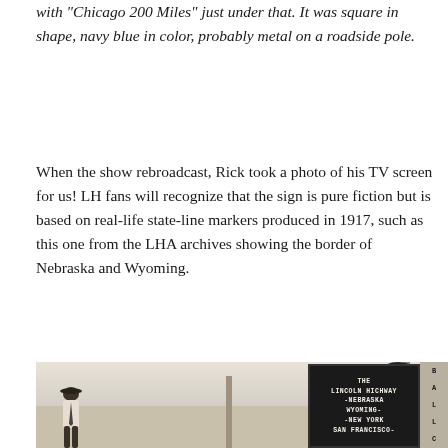with "Chicago 200 Miles" just under that. It was square in shape, navy blue in color, probably metal on a roadside pole.
When the show rebroadcast, Rick took a photo of his TV screen for us! LH fans will recognize that the sign is pure fiction but is based on real-life state-line markers produced in 1917, such as this one from the LHA archives showing the border of Nebraska and Wyoming.
[Figure (photo): Black and white historical photograph showing a man in a cap standing near roadside poles and a Lincoln Highway state-line marker sign reading 'THE LINCOLN HICHWAY -NEBRASKA WYOMING- -NEW YORK SAN FRANCISCO-'. Letters B, A, L, L, C visible on right edge.]